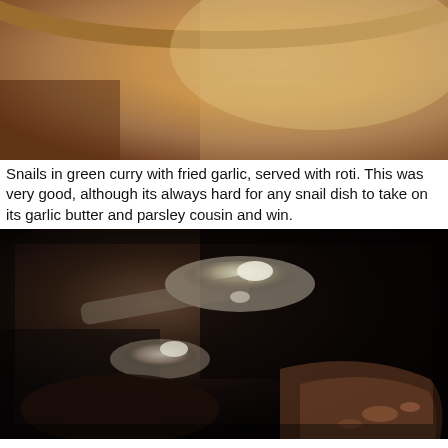[Figure (photo): Close-up photo of a dish with snails in green curry, warm brown and golden tones, showing a bowl or plate from above.]
Snails in green curry with fried garlic, served with roti. This was very good, although its always hard for any snail dish to take on its garlic butter and parsley cousin and win.
[Figure (photo): Close-up dark photo of cooking/food utensils or snails in a dark curry sauce with a spoon or ladle visible, very dark ambient lighting with brown/sepia tones.]